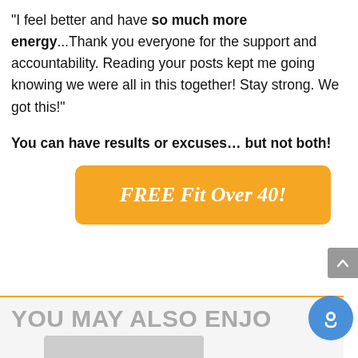"I feel better and have so much more energy"...Thank you everyone for the support and accountability. Reading your posts kept me going knowing we were all in this together! Stay strong. We got this!"
You can have results or excuses… but not both!
[Figure (other): Orange rounded button with white italic bold text reading 'FREE Fit Over 40!']
YOU MAY ALSO ENJOY
[Figure (photo): Partial preview of an image thumbnail at the bottom of the page]